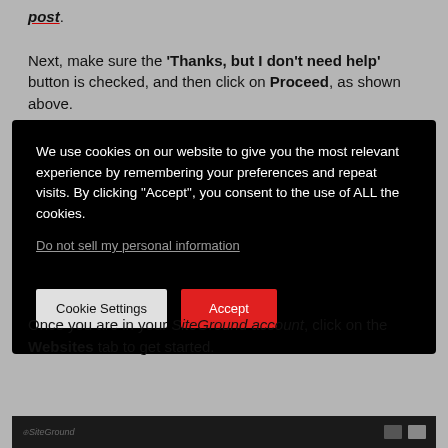post.
Next, make sure the 'Thanks, but I don't need help' button is checked, and then click on Proceed, as shown above.
[Figure (screenshot): Cookie consent modal overlay on dark background with text 'We use cookies on our website to give you the most relevant experience by remembering your preferences and repeat visits. By clicking "Accept", you consent to the use of ALL the cookies.' with a 'Do not sell my personal information' link and two buttons: 'Cookie Settings' and 'Accept']
Once you are in your SiteGround account, click on the Websites tab to get started.
[Figure (screenshot): SiteGround website header/navigation bar screenshot]